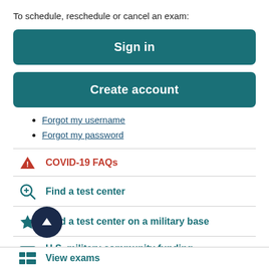To schedule, reschedule or cancel an exam:
Sign in
Create account
Forgot my username
Forgot my password
COVID-19 FAQs
Find a test center
Find a test center on a military base
U.S. military community funding eligibility options
View exams